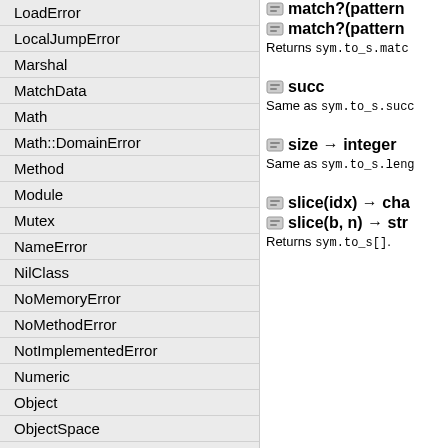LoadError
LocalJumpError
Marshal
MatchData
Math
Math::DomainError
Method
Module
Mutex
NameError
NilClass
NoMemoryError
NoMethodError
NotImplementedError
Numeric
Object
ObjectSpace
ObjectSpace::WeakMap
Proc
Process
Process::GID
match?(pattern)
match?(pattern)
Returns sym.to_s.matc
succ
Same as sym.to_s.succ
size → integer
Same as sym.to_s.leng
slice(idx) → cha
slice(b, n) → str
Returns sym.to_s[].